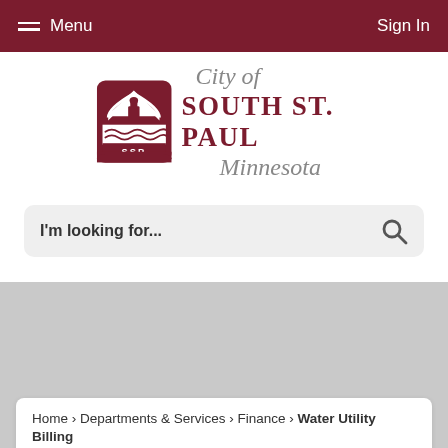Menu  Sign In
[Figure (logo): City of South St. Paul Minnesota logo with SSP shield icon]
I'm looking for...
Home › Departments & Services › Finance › Water Utility Billing